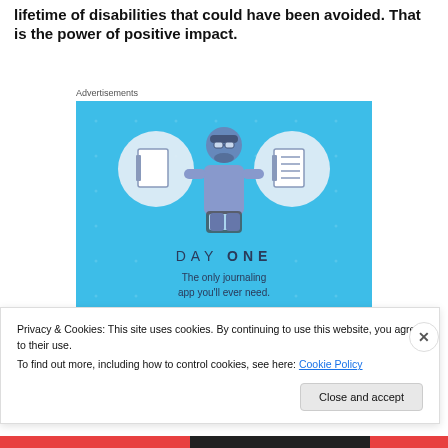lifetime of disabilities that could have been avoided. That is the power of positive impact.
Advertisements
[Figure (illustration): DAY ONE app advertisement on a sky-blue background showing a cartoon person holding a phone, flanked by two circular icons representing a blank notebook and a lined notebook. Text reads 'DAY ONE - The only journaling app you'll ever need.']
Privacy & Cookies: This site uses cookies. By continuing to use this website, you agree to their use.
To find out more, including how to control cookies, see here: Cookie Policy
Close and accept